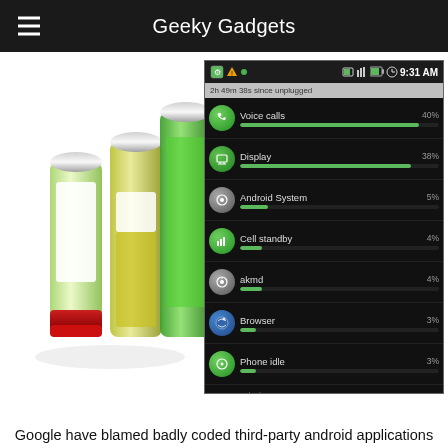Geeky Gadgets
[Figure (illustration): Three stylized battery illustrations: one nearly empty (red base), one half-full (yellow), one full (green), arranged in a group on a white background]
[Figure (screenshot): Android phone screenshot showing battery usage stats: Voice calls 40%, Display 38%, Android System 5%, Cell standby 4%, akmd 4%, Browser 3%, Phone idle 3%. Status bar shows 9:31 AM. Header shows '2h 49m 38s since unplugged'.]
Google have blamed badly coded third-party android applications